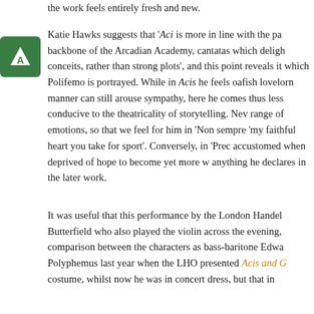the work feels entirely fresh and new.
Katie Hawks suggests that 'Aci is more in line with the pa backbone of the Arcadian Academy, cantatas which deligh conceits, rather than strong plots', and this point reveals it which Polifemo is portrayed. While in Acis he feels oafish lovelorn manner can still arouse sympathy, here he comes thus less conducive to the theatricality of storytelling. Nev range of emotions, so that we feel for him in 'Non sempre 'my faithful heart you take for sport'. Conversely, in 'Prec accustomed when deprived of hope to become yet more w anything he declares in the later work.
It was useful that this performance by the London Handel Butterfield who also played the violin across the evening, comparison between the characters as bass-baritone Edwa Polyphemus last year when the LHO presented Acis and G costume, whilst now he was in concert dress, but that in